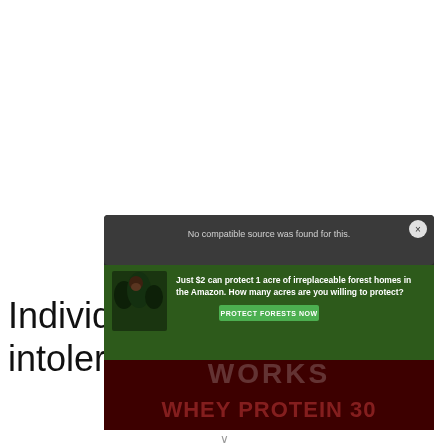Individuals with lactose intolerance may
[Figure (screenshot): An overlay ad panel on a dark background showing 'No compatible source was found for this.' message at top, with a close button, and an Amazon forest conservation ad below showing a sloth image and text 'Just $2 can protect 1 acre of irreplaceable forest homes in the Amazon. How many acres are you willing to protect?' with a green 'PROTECT FORESTS NOW' button. Behind/below is a dark product image showing 'WORKS' and 'WHEY PROTEIN 30' in large text.]